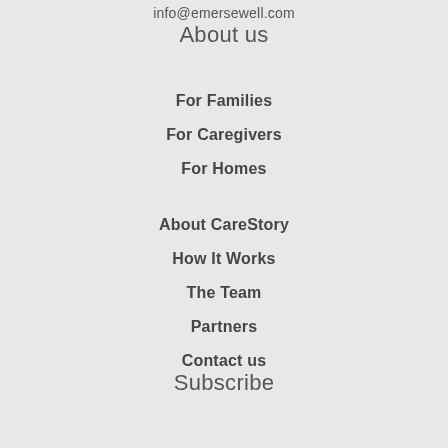info@emersewell.com
About us
For Families
For Caregivers
For Homes
About CareStory
How It Works
The Team
Partners
Contact us
Subscribe